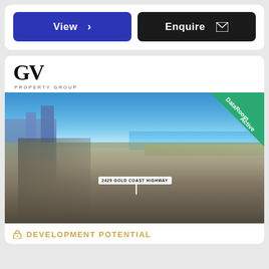[Figure (other): Two buttons: blue 'View >' button and dark 'Enquire' button with email icon]
[Figure (photo): Aerial photo of Gold Coast Highway coastline with GV Property Group logo and DataRoom Active badge. A pin label reads '2429 GOLD COAST HIGHWAY'.]
DEVELOPMENT POTENTIAL